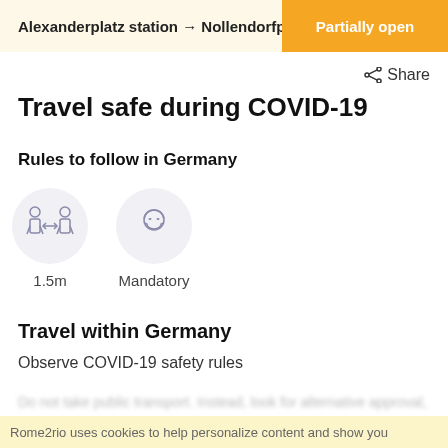Alexanderplatz station → Nollendorfpl… Partially open
Share
Travel safe during COVID-19
Rules to follow in Germany
[Figure (infographic): Two icons side by side: 1) Two figures with a double-headed arrow indicating 1.5m distance, labeled '1.5m'. 2) A face with a mask in a circle, labeled 'Mandatory'.]
Travel within Germany
Observe COVID-19 safety rules
Rome2rio uses cookies to help personalize content and show you